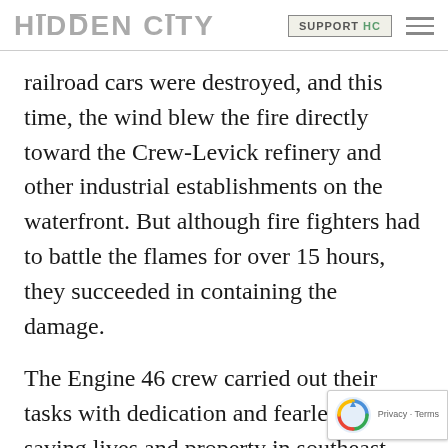HIDDEN CITY  SUPPORT HC
railroad cars were destroyed, and this time, the wind blew the fire directly toward the Crew-Levick refinery and other industrial establishments on the waterfront. But although fire fighters had to battle the flames for over 15 hours, they succeeded in containing the damage.
The Engine 46 crew carried out their tasks with dedication and fearlessness, saving lives and property in southeast Philadelphia well over half a century. Given that hist… the Engine 46 building has long been …